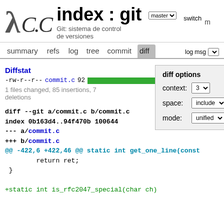index : git — Git: sistema de control de versiones
summary  refs  log  tree  commit  diff
Diffstat
-rw-r--r-- commit.c 92 [bar] 1 files changed, 85 insertions, 7 deletions
diff options — context: 3, space: include, mode: unified
diff --git a/commit.c b/commit.c
index 0b163d4..94f470b 100644
--- a/commit.c
+++ b/commit.c
@@ -422,6 +422,46 @@ static int get_one_line(const
        return ret;
 }

+static int is_rfc2047_special(char ch)